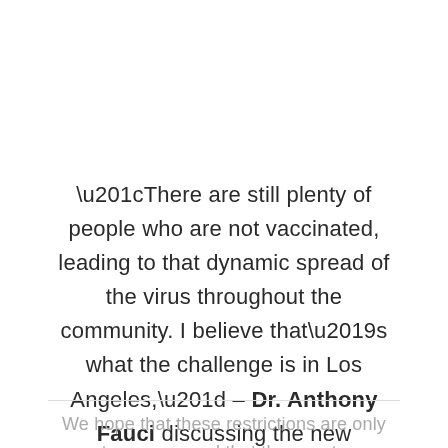“There are still plenty of people who are not vaccinated, leading to that dynamic spread of the virus throughout the community. I believe that’s what the challenge is in Los Angeles,” – Dr. Anthony Fauci discussing the new restrictions to CBS
We hope that these restrictions are only temporary and that the county